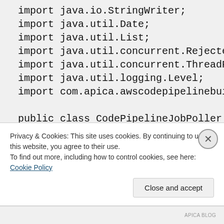import java.io.StringWriter;
    import java.util.Date;
    import java.util.List;
    import java.util.concurrent.RejectedExecu
    import java.util.concurrent.ThreadPoolExe
    import java.util.logging.Level;
    import com.apica.awscodepipelinebuildrunn

    public class CodePipelineJobPoller implem
    {
Privacy & Cookies: This site uses cookies. By continuing to use this website, you agree to their use.
To find out more, including how to control cookies, see here: Cookie Policy
Close and accept